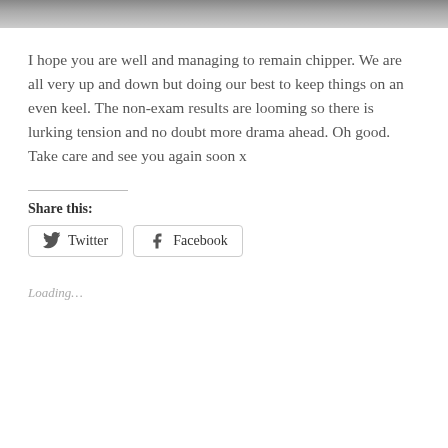[Figure (photo): Partial image strip at top of page, showing a cropped photograph]
I hope you are well and managing to remain chipper. We are all very up and down but doing our best to keep things on an even keel. The non-exam results are looming so there is lurking tension and no doubt more drama ahead. Oh good. Take care and see you again soon x
Share this:
Twitter  Facebook
Loading...